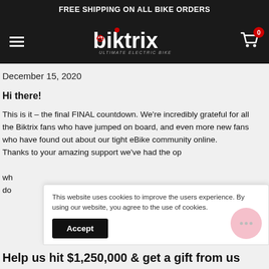FREE SHIPPING ON ALL BIKE ORDERS
[Figure (logo): Biktrix logo - white text on black background with red dots, subtitle 'ULTIMATE ELECTRIC BIKES']
December 15, 2020
Hi there!
This is it - the final FINAL countdown. We're incredibly grateful for all the Biktrix fans who have jumped on board, and even more new fans who have found out about our tight eBike community online. Thanks to your amazing support we've had the op[portunity...] wh[...] do[...]
This website uses cookies to improve the users experience. By using our website, you agree to the use of cookies.
Accept
Help us hit $1,250,000 & get a gift from us